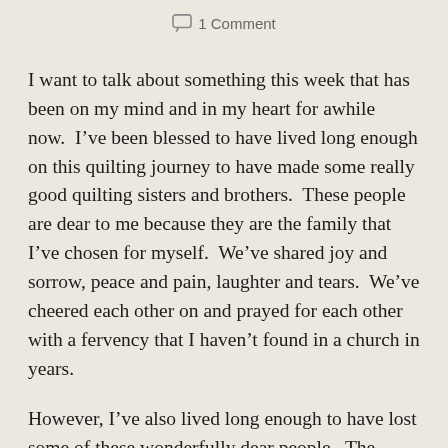1 Comment
I want to talk about something this week that has been on my mind and in my heart for awhile now.  I’ve been blessed to have lived long enough on this quilting journey to have made some really good quilting sisters and brothers.  These people are dear to me because they are the family that I’ve chosen for myself.  We’ve shared joy and sorrow, peace and pain, laughter and tears.  We’ve cheered each other on and prayed for each other with a fervency that I haven’t found in a church in years.
However, I’ve also lived long enough to have lost some of these wonderfully dear people.  The other night as I was cleaning out some of the mess in my studio, I moved a rotary cutting mat and realized it had belonged to a quilting friend who passed away almost 10 years ago.